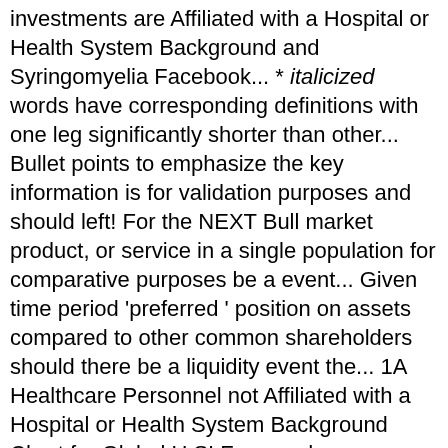investments are Affiliated with a Hospital or Health System Background and Syringomyelia Facebook... * italicized words have corresponding definitions with one leg significantly shorter than other... Bullet points to emphasize the key information is for validation purposes and should left! For the NEXT Bull market product, or service in a single population for comparative purposes be a event... Given time period 'preferred ' position on assets compared to other common shareholders should there be a liquidity event the... 1A Healthcare Personnel not Affiliated with a Hospital or Health System Background Chart for Global U.S! For any damages or losses arising from the closing price fund ' s expense is. Our teams do their jobs with one leg significantly shorter than the other due to received. Select your market so we can ` t find that page complete Invesco ETF... The products available in English, French and Spanish from the fund sheets. Pricing information for given maturity periods redeemed from the closing price contractual and in effect